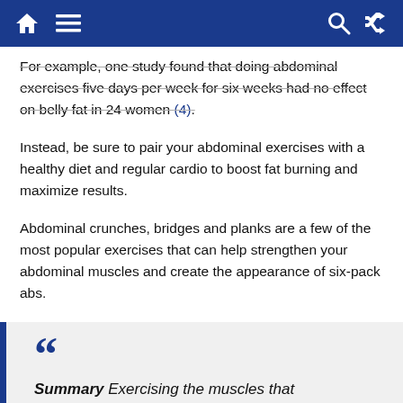Navigation bar with home, menu, search, and shuffle icons
For example, one study found that doing abdominal exercises five days per week for six weeks had no effect on belly fat in 24 women (4).
Instead, be sure to pair your abdominal exercises with a healthy diet and regular cardio to boost fat burning and maximize results.
Abdominal crunches, bridges and planks are a few of the most popular exercises that can help strengthen your abdominal muscles and create the appearance of six-pack abs.
Summary Exercising the muscles that make up your abdomen can help increase muscle mass to achieve six-pack abs. Pair